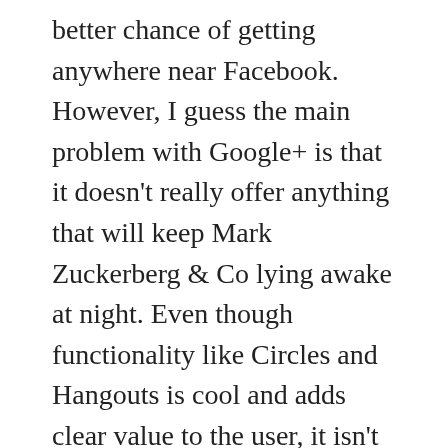better chance of getting anywhere near Facebook. However, I guess the main problem with Google+ is that it doesn't really offer anything that will keep Mark Zuckerberg & Co lying awake at night. Even though functionality like Circles and Hangouts is cool and adds clear value to the user, it isn't anything that Facebook can't easily replicate or venture into.
I would be surprised if Google eventually succeeds in positioning itself as a credible and hugely successful social network, it simply doesn't have the 'first mover advantage' that Facebook has had up till now. If anything, with Google+ it has given itself the best thinkable chance to beat Facebook, so I will be keeping a